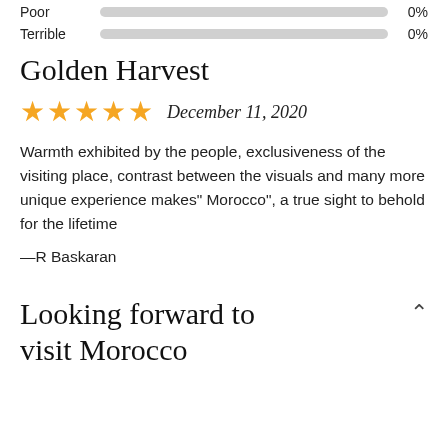Poor   0%
Terrible   0%
Golden Harvest
★★★★★   December 11, 2020
Warmth exhibited by the people, exclusiveness of the visiting place, contrast between the visuals and many more unique experience makes" Morocco", a true sight to behold for the lifetime
—R Baskaran
Looking forward to visit Morocco